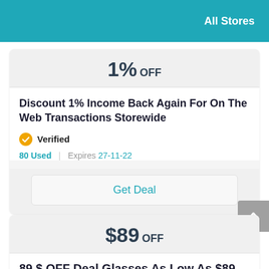All Stores
1% OFF
Discount 1% Income Back Again For On The Web Transactions Storewide
Verified
80 Used | Expires 27-11-22
Get Deal
$89 OFF
89 $ OFF Deal Glasses As Low As $89 At Mytheressa